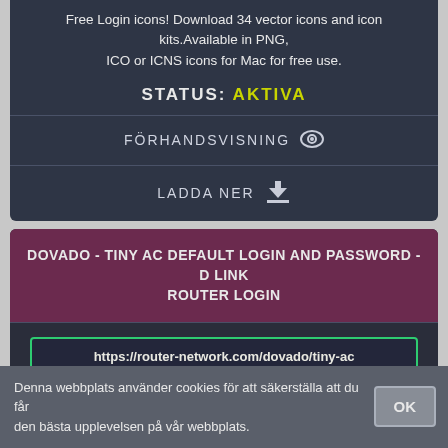Free Login icons! Download 34 vector icons and icon kits.Available in PNG, ICO or ICNS icons for Mac for free use.
STATUS: AKTIVA
FÖRHANDSVISNING
LADDA NER
DOVADO - TINY AC DEFAULT LOGIN AND PASSWORD - D LINK ROUTER LOGIN
https://router-network.com/dovado/tiny-ac
Dovado - TINY AC Router Login - Username, Password and IP Address. Default login: 192.168.245.1. Username: admin; Password: password; IP Address: ...
Denna webbplats använder cookies för att säkerställa att du får den bästa upplevelsen på vår webbplats.